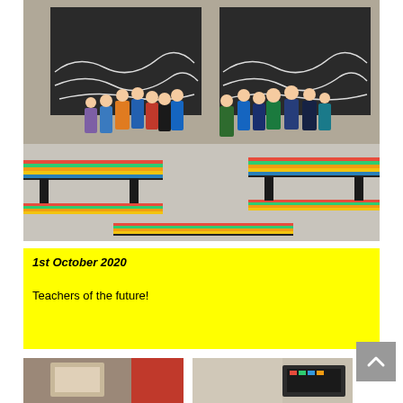[Figure (photo): Children standing at outdoor chalkboard walls writing with chalk. Colorful striped picnic benches in the foreground on a concrete courtyard.]
1st October 2020
Teachers of the future!
[Figure (photo): Partially visible photo at bottom left, appears to show a classroom or indoor setting with red element.]
[Figure (photo): Partially visible photo at bottom right, appears to show a surface with a box/case of supplies.]